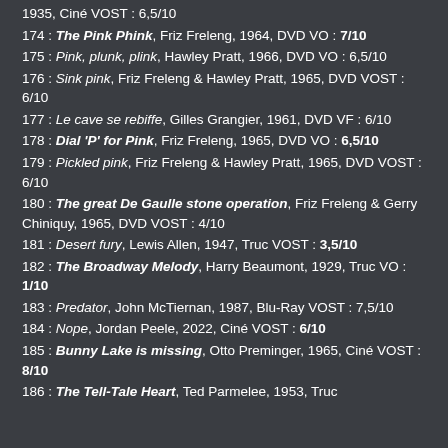1935, Ciné VOST : 6,5/10
174 : The Pink Phink, Friz Freleng, 1964, DVD VO : 7/10
175 : Pink, plunk, plink, Hawley Pratt, 1966, DVD VO : 6,5/10
176 : Sink pink, Friz Freleng & Hawley Pratt, 1965, DVD VOST : 6/10
177 : Le cave se rebiffe, Gilles Grangier, 1961, DVD VF : 6/10
178 : Dial 'P' for Pink, Friz Freleng, 1965, DVD VO : 6,5/10
179 : Pickled pink, Friz Freleng & Hawley Pratt, 1965, DVD VOST : 6/10
180 : The great De Gaulle stone operation, Friz Freleng & Gerry Chiniquy, 1965, DVD VOST : 4/10
181 : Desert fury, Lewis Allen, 1947, Truc VOST : 3,5/10
182 : The Broadway Melody, Harry Beaumont, 1929, Truc VO : 1/10
183 : Predator, John McTiernan, 1987, Blu-Ray VOST : 7,5/10
184 : Nope, Jordan Peele, 2022, Ciné VOST : 6/10
185 : Bunny Lake is missing, Otto Preminger, 1965, Ciné VOST : 8/10
186 : The Tell-Tale Heart, Ted Parmelee, 1953, Truc